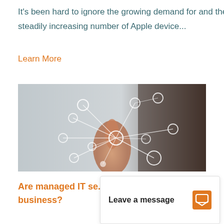It's been hard to ignore the growing demand for and the steadily increasing number of Apple device...
Learn More
[Figure (photo): Person touching a glowing network diagram with connected circles, illustrating IT networking or managed services concept.]
Are managed IT se... business?
Leave a message